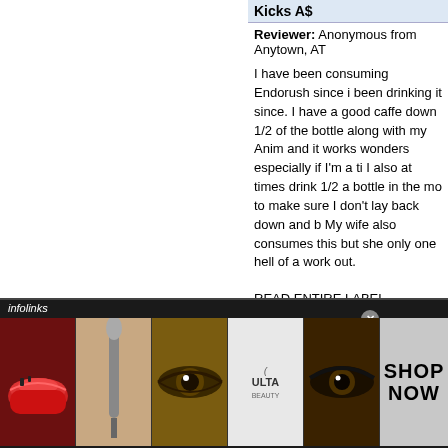Kicks A$
Reviewer: Anonymous from Anytown, AT
I have been consuming Endorush since i been drinking it since. I have a good caffe down 1/2 of the bottle along with my Anim and it works wonders especially if I'm a ti I also at times drink 1/2 a bottle in the mo to make sure I don't lay back down and b My wife also consumes this but she only one hell of a work out.
READ ENTIRE LABEL BEFORE DRINK you can handle a full bottle because you
1 of 1 p
Was this re
greatness.
Reviewer: Mickle from louisiana
[Figure (photo): Infolinks advertisement banner showing beauty/makeup images and ULTA Beauty branding with SHOP NOW button]